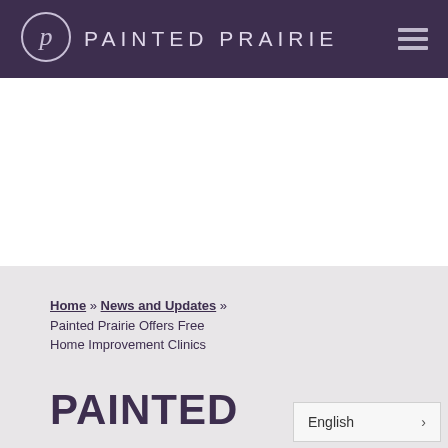PAINTED PRAIRIE
[Figure (logo): Painted Prairie circular logo with stylized P inside a circle, white on dark purple background]
Home » News and Updates » Painted Prairie Offers Free Home Improvement Clinics
PAINTED
English